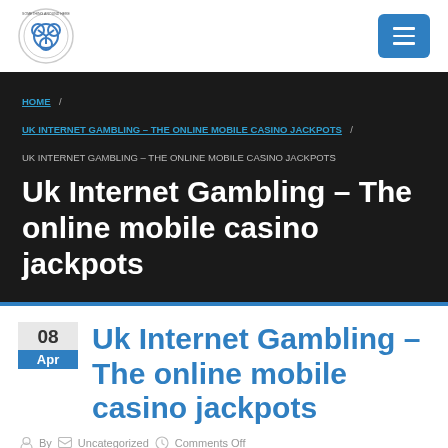[Figure (logo): Circular logo with globe/network icon and text around border]
[Figure (other): Blue menu/hamburger button with three white horizontal lines]
HOME / UK INTERNET GAMBLING – THE ONLINE MOBILE CASINO JACKPOTS / UK INTERNET GAMBLING – THE ONLINE MOBILE CASINO JACKPOTS
Uk Internet Gambling – The online mobile casino jackpots
Uk Internet Gambling – The online mobile casino jackpots
By  Uncategorized  Comments Off